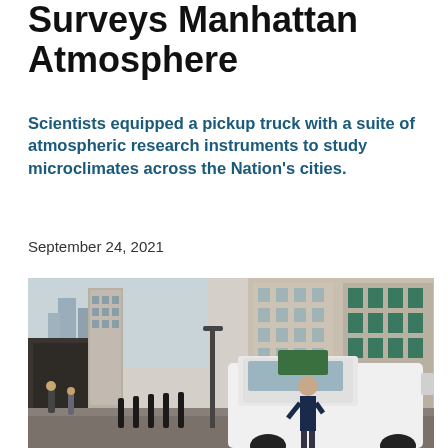Surveys Manhattan Atmosphere
Scientists equipped a pickup truck with a suite of atmospheric research instruments to study microclimates across the Nation's cities.
September 24, 2021
[Figure (photo): A scientist stands next to a white pickup truck equipped with instruments on a Manhattan street, with tall buildings visible in the background and pedestrians on the sidewalk.]